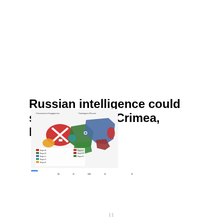Russian intelligence could stage blasts in Crimea, Russia,...
[Figure (map): Colorful map of Russia showing different regions colored in red, green, blue, and other colors with Cyrillic text labels. Appears to show political or administrative divisions. Title in Cyrillic reads 'Сплоченная Государства' and 'Свободная Россия'.]